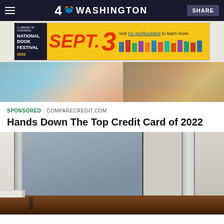4 NBC WASHINGTON | SHARE
[Figure (photo): National Book Festival 2022 advertisement banner - SEPT. 3, visit loc.gov/bookfest to learn more]
[Figure (photo): Partial photo of woman in floral swimsuit at beach]
SPONSORED · COMPARECREDIT.COM
Hands Down The Top Credit Card of 2022
[Figure (photo): Photo of doorway with glass door panels, hardwood floor, white wall trim and baseboards]